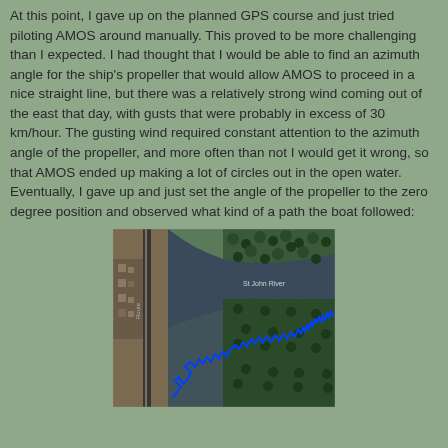At this point, I gave up on the planned GPS course and just tried piloting AMOS around manually. This proved to be more challenging than I expected. I had thought that I would be able to find an azimuth angle for the ship's propeller that would allow AMOS to proceed in a nice straight line, but there was a relatively strong wind coming out of the east that day, with gusts that were probably in excess of 30 km/hour. The gusting wind required constant attention to the azimuth angle of the propeller, and more often than not I would get it wrong, so that AMOS ended up making a lot of circles out in the open water. Eventually, I gave up and just set the angle of the propeller to the zero degree position and observed what kind of a path the boat followed:
[Figure (photo): Satellite/aerial map image showing a river (labeled 'St John River') with a blue GPS track line overlaid showing the erratic path of the AMOS boat. The track zigzags along the southern shore of the river. The image shows forested areas, a road on the left side, and the river water.]